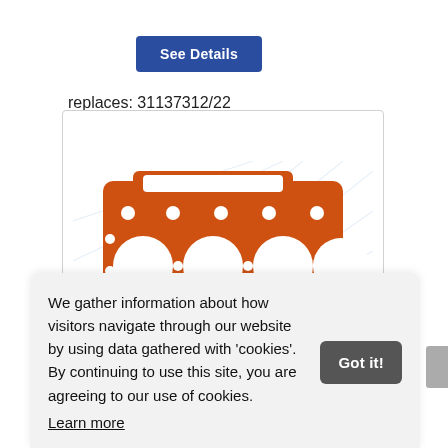See Details
replaces: 31137312/22
[Figure (photo): Orange metal engine cylinder head gasket with circular cutouts, shown partially, with watermark overlay]
We gather information about how visitors navigate through our website by using data gathered with 'cookies'. By continuing to use this site, you are agreeing to our use of cookies.
Learn more
Got it!